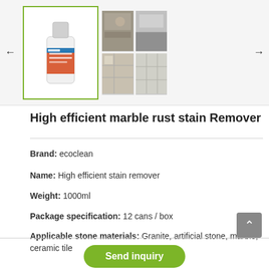[Figure (photo): Product image gallery showing a white bottle of High efficient marble rust stain Remover with an orange label (selected/highlighted with green border), and a grid of 4 thumbnail photos showing granite/stone surfaces.]
High efficient marble rust stain Remover
Brand: ecoclean
Name: High efficient stain remover
Weight: 1000ml
Package specification: 12 cans / box
Applicable stone materials: Granite, artificial stone, marble, ceramic tile